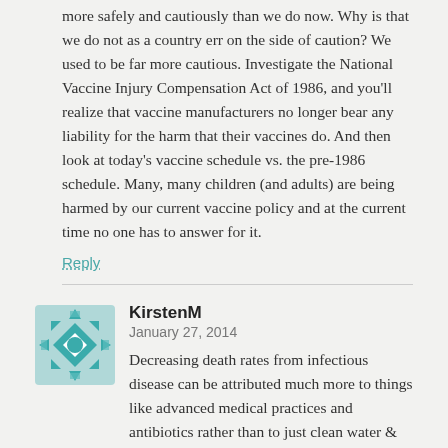more safely and cautiously than we do now. Why is that we do not as a country err on the side of caution? We used to be far more cautious. Investigate the National Vaccine Injury Compensation Act of 1986, and you'll realize that vaccine manufacturers no longer bear any liability for the harm that their vaccines do. And then look at today's vaccine schedule vs. the pre-1986 schedule. Many, many children (and adults) are being harmed by our current vaccine policy and at the current time no one has to answer for it.
Reply
KirstenM
January 27, 2014
Decreasing death rates from infectious disease can be attributed much more to things like advanced medical practices and antibiotics rather than to just clean water & sewage disposal.
Reply
ProfessorTMR